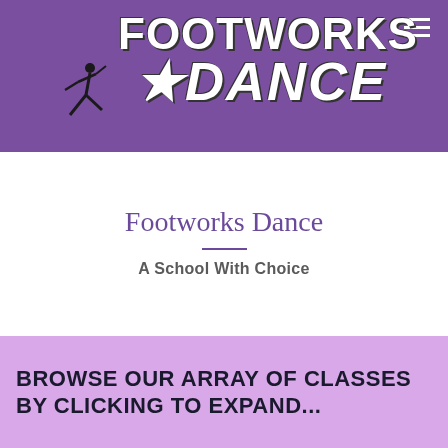[Figure (logo): Footworks Dance school logo on purple background with dancer silhouette and bold white text reading FOOTWORKS DANCE]
Footworks Dance
A School With Choice
BROWSE OUR ARRAY OF CLASSES BY CLICKING TO EXPAND...